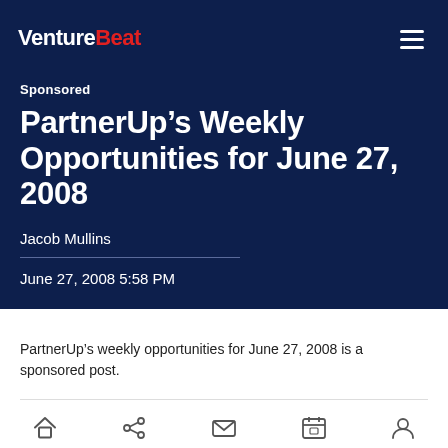VentureBeat
Sponsored
PartnerUp’s Weekly Opportunities for June 27, 2008
Jacob Mullins
June 27, 2008 5:58 PM
PartnerUp’s weekly opportunities for June 27, 2008 is a sponsored post.